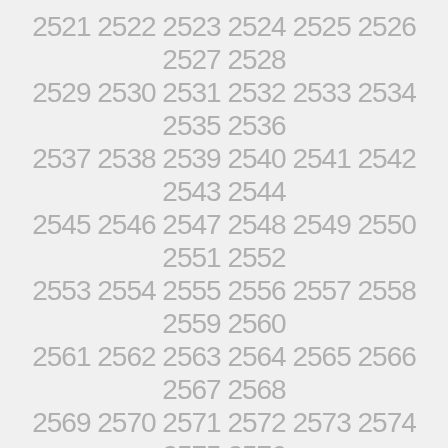2521 2522 2523 2524 2525 2526 2527 2528
2529 2530 2531 2532 2533 2534 2535 2536
2537 2538 2539 2540 2541 2542 2543 2544
2545 2546 2547 2548 2549 2550 2551 2552
2553 2554 2555 2556 2557 2558 2559 2560
2561 2562 2563 2564 2565 2566 2567 2568
2569 2570 2571 2572 2573 2574 2575 2576
2577 2578 2579 2580 2581 2582 2583 2584
2585 2586 2587 2588 2589 2590 2591 2592
2593 2594 2595 2596 2597 2598 2599 2600
2601 2602 2603 2604 2605 2606 2607 2608
2609 2610 2611 2612 2613 2614 2615 2616
2617 2618 2619 2620 2621 2622 2623 2624